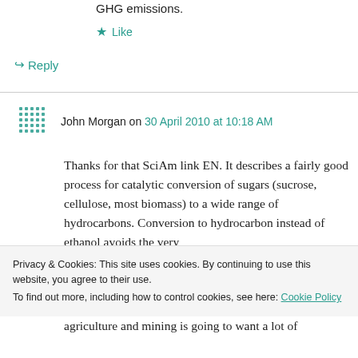GHG emissions.
Like
Reply
John Morgan on 30 April 2010 at 10:18 AM
Thanks for that SciAm link EN. It describes a fairly good process for catalytic conversion of sugars (sucrose, cellulose, most biomass) to a wide range of hydrocarbons. Conversion to hydrocarbon instead of ethanol avoids the very
Privacy & Cookies: This site uses cookies. By continuing to use this website, you agree to their use.
To find out more, including how to control cookies, see here: Cookie Policy
Close and accept
agriculture and mining is going to want a lot of